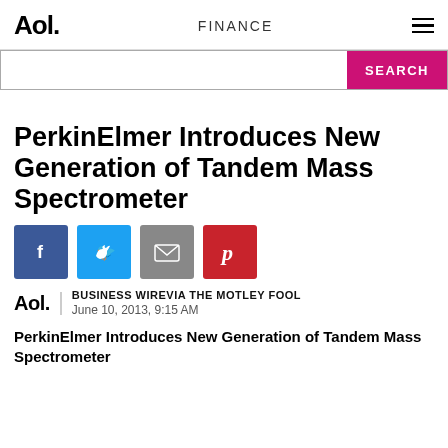Aol. | FINANCE
PerkinElmer Introduces New Generation of Tandem Mass Spectrometer
[Figure (infographic): Social sharing icons: Facebook (blue), Twitter (light blue), Email (grey), Pinterest (red)]
BUSINESS WIREVIA THE MOTLEY FOOL
June 10, 2013, 9:15 AM
PerkinElmer Introduces New Generation of Tandem Mass Spectrometer